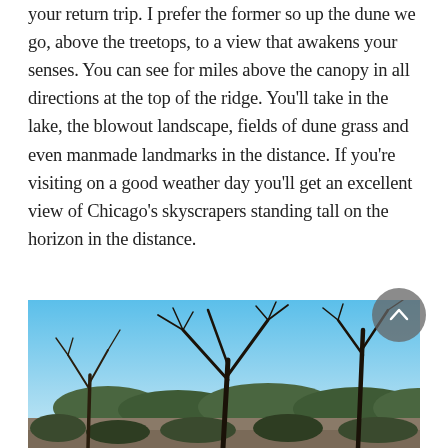your return trip. I prefer the former so up the dune we go, above the treetops, to a view that awakens your senses. You can see for miles above the canopy in all directions at the top of the ridge. You'll take in the lake, the blowout landscape, fields of dune grass and even manmade landmarks in the distance. If you're visiting on a good weather day you'll get an excellent view of Chicago's skyscrapers standing tall on the horizon in the distance.
[Figure (photo): Outdoor nature photo showing bare winter trees with twisted branches against a blue sky, with scrubby vegetation and a path visible below.]